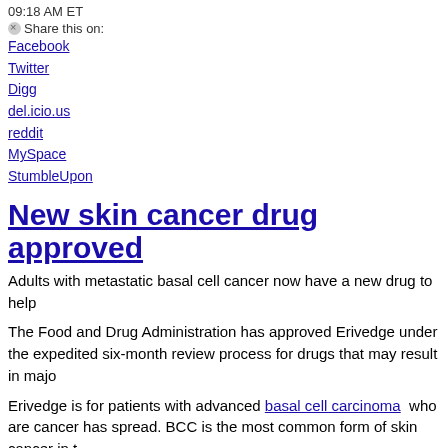09:18 AM ET
Share this on:
Facebook
Twitter
Digg
del.icio.us
reddit
MySpace
StumbleUpon
New skin cancer drug approved
Adults with metastatic basal cell cancer now have a new drug to help
The Food and Drug Administration has approved Erivedge under the expedited six-month review process for drugs that may result in major
Erivedge is for patients with advanced basal cell carcinoma who are cancer has spread. BCC is the most common form of skin cancer in t
The new drug inhibits a molecular pathway called the Hedgehog path
"Our understanding of molecular pathways involved in cancer, such a targeted drugs for specific diseases," said Dr. Richard Pazdur, directo